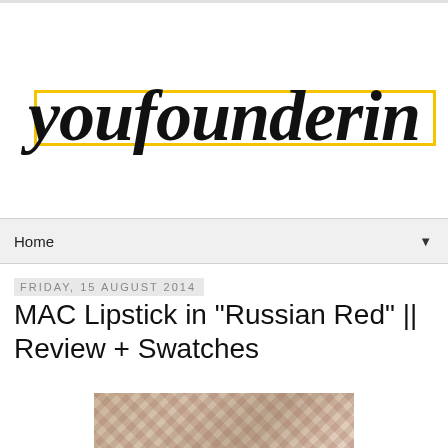[Figure (logo): youfounderin blog logo in cursive/script font with yellow rectangle border]
Home
Friday, 15 August 2014
MAC Lipstick in "Russian Red" || Review + Swatches
[Figure (photo): Collage photo at bottom of page, partially visible]